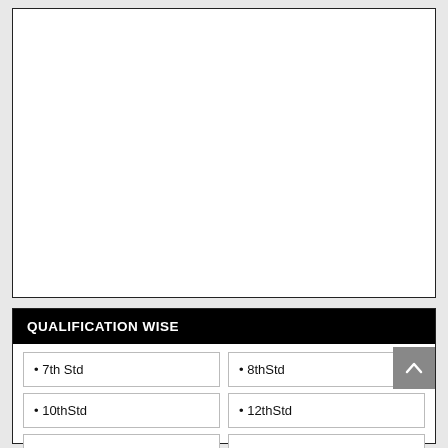[Figure (other): White empty box with black border, upper portion of the page]
QUALIFICATION WISE
• 7th Std
• 8thStd
• 10thStd
• 12thStd